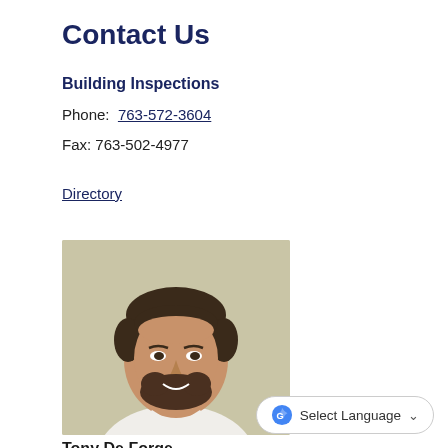Contact Us
Building Inspections
Phone: 763-572-3604
Fax: 763-502-4977
Directory
[Figure (photo): Headshot photo of Tony De Forge, a man with short dark hair and a beard, wearing a white shirt, against a light beige background.]
Tony De Forge